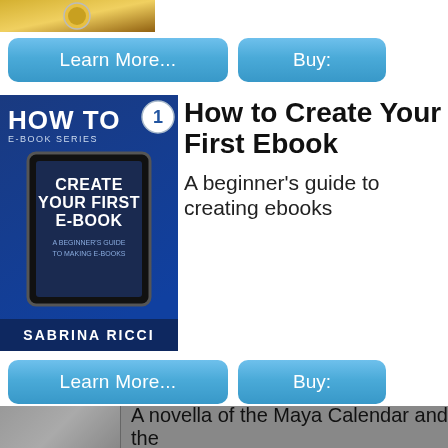[Figure (photo): Partial view of a book cover at top, appears to be food/cooking related with golden circular design]
Learn More...
Buy:
[Figure (photo): Book cover: 'How to Create Your First E-Book' by Sabrina Ricci, How To E-Book Series #1, blue cover with tablet device image]
How to Create Your First Ebook
A beginner's guide to creating ebooks
Learn More...
Buy:
[Figure (photo): Book cover: 'How I Met Your Media' showing silhouetted figures against dark background]
How I Met Your Media
The Websites, Books and Other Content That Entrenched How I Met Your Mother
Privacy & Cookies: This site uses cookies. By continuing to use this website, you agree to their use.
To find out more, including how to control cookies, see here: Cookie Policy
Close and accept
A novella of the Maya Calendar and the